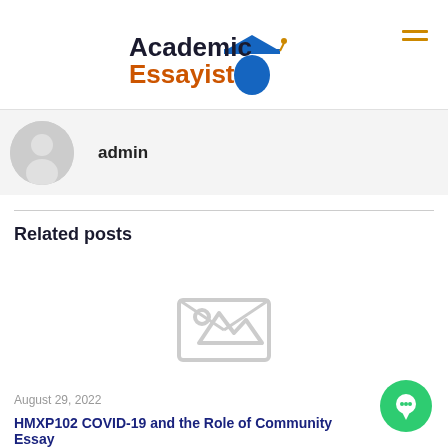Academic Essayist
admin
Related posts
[Figure (illustration): Placeholder image icon showing a small landscape/photo icon in light gray]
August 29, 2022
HMXP102 COVID-19 and the Role of Community Essay